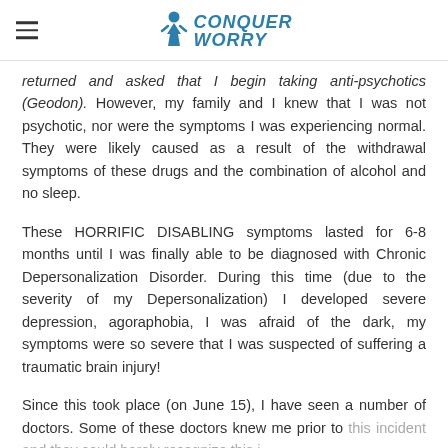Conquer Worry
returned and asked that I begin taking anti-psychotics (Geodon). However, my family and I knew that I was not psychotic, nor were the symptoms I was experiencing normal. They were likely caused as a result of the withdrawal symptoms of these drugs and the combination of alcohol and no sleep.
These HORRIFIC DISABLING symptoms lasted for 6-8 months until I was finally able to be diagnosed with Chronic Depersonalization Disorder. During this time (due to the severity of my Depersonalization) I developed severe depression, agoraphobia, I was afraid of the dark, my symptoms were so severe that I was suspected of suffering a traumatic brain injury!
Since this took place (on June 15), I have seen a number of doctors. Some of these doctors knew me prior to this incident and they could barely recognize this i...